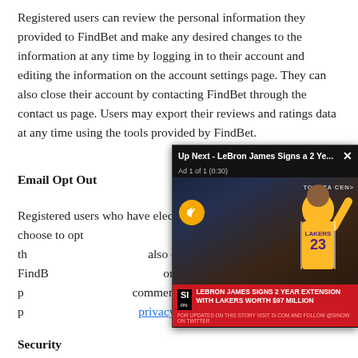Registered users can review the personal information they provided to FindBet and make any desired changes to the information at any time by logging in to their account and editing the information on the account settings page. They can also close their account by contacting FindBet through the contact us page. Users may export their reviews and ratings data at any time using the tools provided by FindBet.
Email Opt Out
Registered users who have elected to receive FindBet email can choose to opt ... "Unsubscribe" link at th... also opt out from FindB... on the user's FindBet p... comments regarding p... privacy@popdust.com.
[Figure (screenshot): Video ad overlay: 'Up Next - LeBron James Signs a 2 Ye...' with close button, 'Ad 1 of 1 (0:30)' subtitle, mute button, image of LeBron James in Lakers #23 jersey at Toyota Center, SI bottom bar reading 'LEBRON JAMES SIGNS 2 YEAR EXTENSION WITH LAKERS WORTH $97 MILLION']
Security